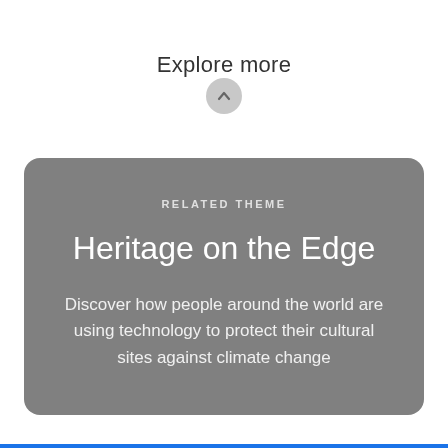Explore more
RELATED THEME
Heritage on the Edge
Discover how people around the world are using technology to protect their cultural sites against climate change